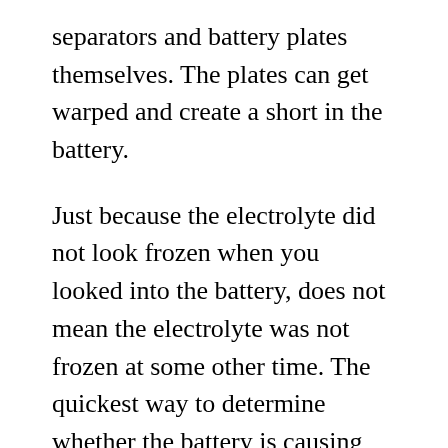separators and battery plates themselves. The plates can get warped and create a short in the battery.
Just because the electrolyte did not look frozen when you looked into the battery, does not mean the electrolyte was not frozen at some other time. The quickest way to determine whether the battery is causing the problem is to temporarily hook up a known good battery to your Travel Trailer. If the fuse does not blow with the known good battery installed then